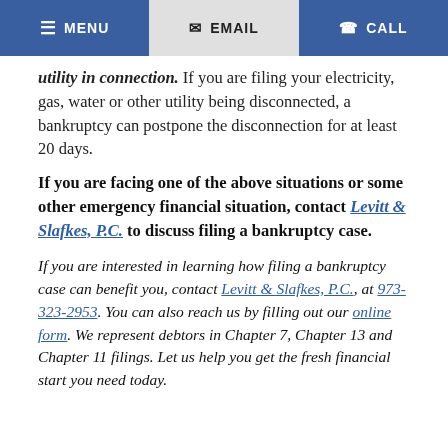MENU | EMAIL | CALL
…utility in connection. If you are filing your electricity, gas, water or other utility being disconnected, a bankruptcy can postpone the disconnection for at least 20 days.
If you are facing one of the above situations or some other emergency financial situation, contact Levitt & Slafkes, P.C. to discuss filing a bankruptcy case.
If you are interested in learning how filing a bankruptcy case can benefit you, contact Levitt & Slafkes, P.C., at 973-323-2953. You can also reach us by filling out our online form. We represent debtors in Chapter 7, Chapter 13 and Chapter 11 filings. Let us help you get the fresh financial start you need today.